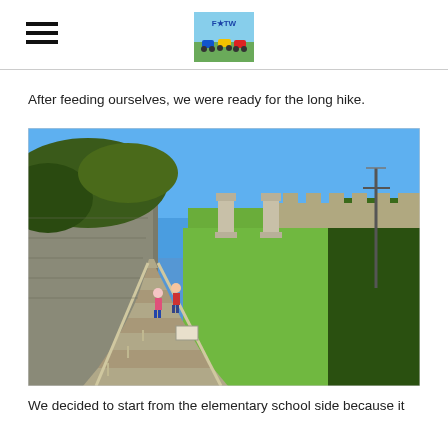[hamburger menu icon] [F*TW logo with scooters image]
After feeding ourselves, we were ready for the long hike.
[Figure (photo): Outdoor staircase path leading uphill with two hikers climbing the steps. Green grass and bushes on the right, stone wall and trees on the left. Blue sky above. Stone pillars visible at the top of the stairs.]
We decided to start from the elementary school side because it